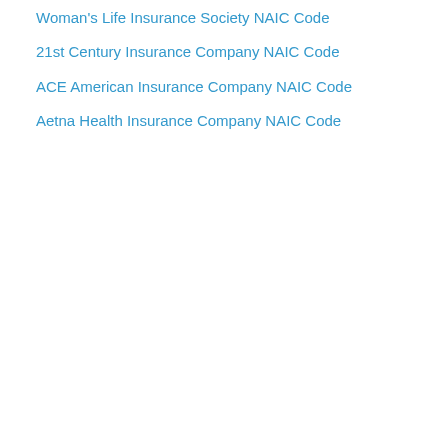Woman's Life Insurance Society NAIC Code
21st Century Insurance Company NAIC Code
ACE American Insurance Company NAIC Code
Aetna Health Insurance Company NAIC Code